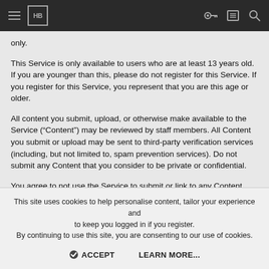HB [navigation bar with hamburger menu, HB logo, key icon, list icon, search icon]
only.
This Service is only available to users who are at least 13 years old. If you are younger than this, please do not register for this Service. If you register for this Service, you represent that you are this age or older.
All content you submit, upload, or otherwise make available to the Service (“Content”) may be reviewed by staff members. All Content you submit or upload may be sent to third-party verification services (including, but not limited to, spam prevention services). Do not submit any Content that you consider to be private or confidential.
You agree to not use the Service to submit or link to any Content
This site uses cookies to help personalise content, tailor your experience and to keep you logged in if you register.
By continuing to use this site, you are consenting to our use of cookies.
ACCEPT   LEARN MORE...